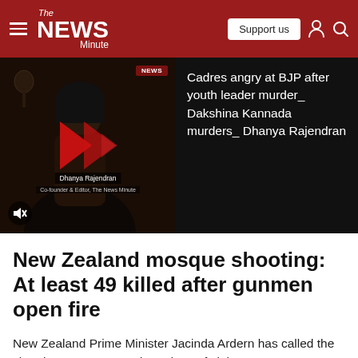The News Minute
[Figure (screenshot): Video thumbnail showing a woman (Dhanya Rajendran) with red play button overlay on dark background, and a news sidebar with text about BJP youth leader murder]
Cadres angry at BJP after youth leader murder_ Dakshina Kannada murders_ Dhanya Rajendran
New Zealand mosque shooting: At least 49 killed after gunmen open fire
New Zealand Prime Minister Jacinda Ardern has called the shootings an "unprecedented act of violence."